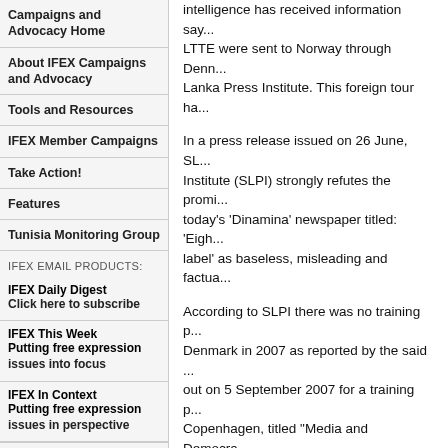Campaigns and Advocacy Home
About IFEX Campaigns and Advocacy
Tools and Resources
IFEX Member Campaigns
Take Action!
Features
Tunisia Monitoring Group
IFEX EMAIL PRODUCTS:
IFEX Daily Digest
Click here to subscribe
IFEX This Week
Putting free expression issues into focus
IFEX In Context
Putting free expression issues in perspective
OPPORTUNITIES AND ASSISTANCE:
Awards and other
intelligence has received information saying journalists of the LTTE were sent to Norway through Denmark by the Sri Lanka Press Institute. This foreign tour ha...
In a press release issued on 26 June, SL... Institute (SLPI) strongly refutes the promi... today's 'Dinamina' newspaper titled: 'Eigh... label' as baseless, misleading and factua...
According to SLPI there was no training p... Denmark in 2007 as reported by the said ... out on 5 September 2007 for a training p... Copenhagen, titled "Media and Democra...
Approximately 100 journalists from televis... which 20 were selected. The 20 journalist... to 3 May 2008. All of them returned to the... flight.
SLPI plays an important role in bringing n... in press freedom advocacy in Sri Lanka t... cooked up story as another attempt to int...